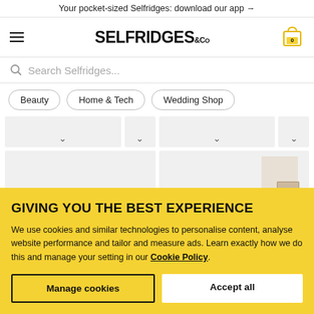Your pocket-sized Selfridges: download our app →
[Figure (logo): Selfridges & Co logo with hamburger menu and cart icon]
Search Selfridges...
Beauty
Home & Tech
Wedding Shop
[Figure (screenshot): Partial product grid showing grey product tiles with chevron dropdowns]
GIVING YOU THE BEST EXPERIENCE
We use cookies and similar technologies to personalise content, analyse website performance and tailor and measure ads. Learn exactly how we do this and manage your setting in our Cookie Policy.
Manage cookies
Accept all